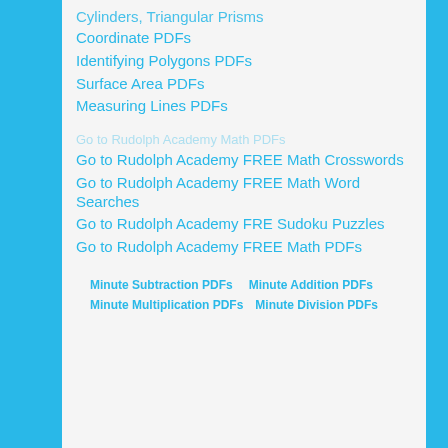Cylinders, Triangular Prisms
Coordinate PDFs
Identifying Polygons PDFs
Surface Area PDFs
Measuring Lines PDFs
Go to Rudolph Academy FREE Math Crosswords
Go to Rudolph Academy FREE Math Word Searches
Go to Rudolph Academy FRE Sudoku Puzzles
Go to Rudolph Academy FREE Math PDFs
Minute Subtraction PDFs   Minute Addition PDFs
Minute Multiplication PDFs   Minute Division PDFs